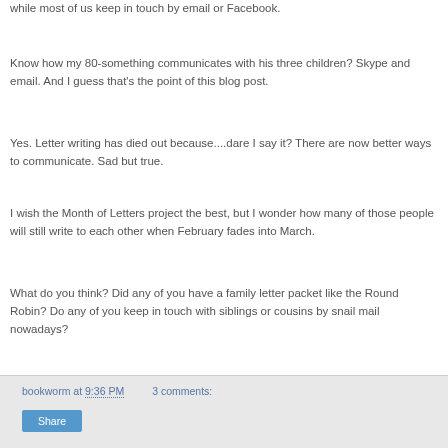while most of us keep in touch by email or Facebook.
Know how my 80-something communicates with his three children?  Skype and email.  And I guess that's the point of this blog post.
Yes.  Letter writing has died out because....dare I say it?  There are now better ways to communicate.  Sad but true.
I wish the Month of Letters project the best, but I wonder how many of those people will still write to each other when February fades into March.
What do you think?  Did any of you have a family letter packet like the Round Robin?  Do any of you keep in touch with siblings or cousins by snail mail nowadays?
bookworm at 9:36 PM   3 comments:   Share